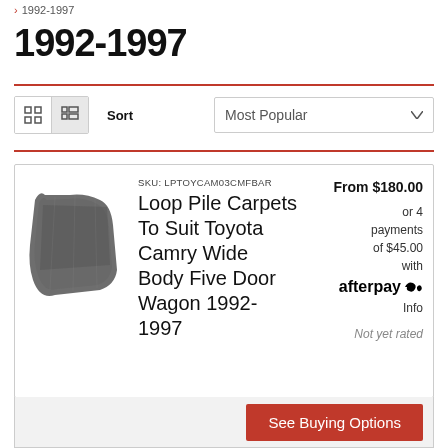> 1992-1997
1992-1997
Sort  Most Popular
[Figure (photo): Gray loop pile carpet mat product image]
SKU: LPTOYCAM03CMFBAR
Loop Pile Carpets To Suit Toyota Camry Wide Body Five Door Wagon 1992-1997
From $180.00
or 4 payments of $45.00 with afterpay Info
Not yet rated
See Buying Options